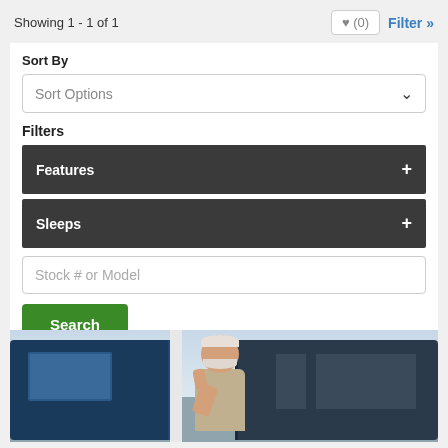Showing 1 - 1 of 1
♥ (0)
Filter »
Sort By
Sort Options
Filters
Features +
Sleeps +
Stock # or Model
Search
[Figure (photo): An older white-bearded man smiling and giving a thumbs up, standing in front of two RVs/motorhomes]